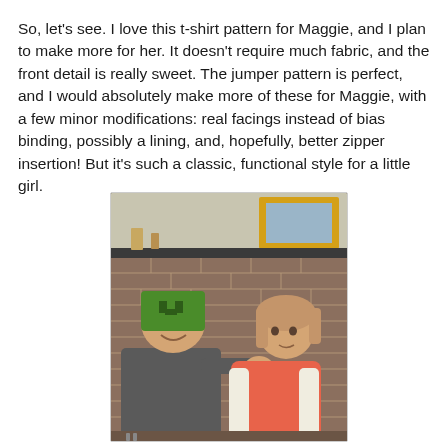So, let's see. I love this t-shirt pattern for Maggie, and I plan to make more for her. It doesn't require much fabric, and the front detail is really sweet. The jumper pattern is perfect, and I would absolutely make more of these for Maggie, with a few minor modifications: real facings instead of bias binding, possibly a lining, and, hopefully, better zipper insertion! But it's such a classic, functional style for a little girl.
[Figure (photo): Two children posing in front of a brick fireplace. A boy wearing a green Minecraft Creeper beanie hat and dark gray t-shirt has his arm around a toddler girl wearing a coral/orange jumper dress with white long sleeves underneath. The background shows a brick wall and a shelf with decorative items including a yellow framed mirror.]